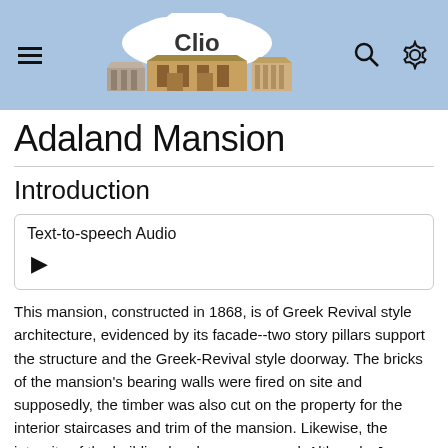Clio
Adaland Mansion
Introduction
Text-to-speech Audio
This mansion, constructed in 1868, is of Greek Revival style architecture, evidenced by its facade--two story pillars support the structure and the Greek-Revival style doorway. The bricks of the mansion's bearing walls were fired on site and supposedly, the timber was also cut on the property for the interior staircases and trim of the mansion. Likewise, the integrity of the building has been preserved. Although, James David Corder was the architect, freed black slaves actually built the mansion and lived on the property in slave quarters, which remained on the property until they were torn down in 1949. There are twelve domestic rooms in all; four bedrooms